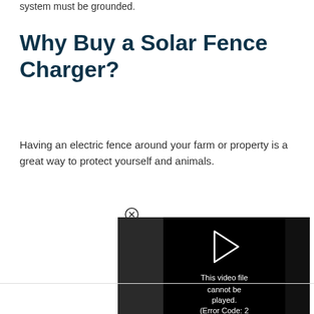system must be grounded.
Why Buy a Solar Fence Charger?
Having an electric fence around your farm or property is a great way to protect yourself and animals.
[Figure (screenshot): Video player showing error message: 'This video file cannot be played. (Error Code: 2 24003)' with a play icon and close button.]